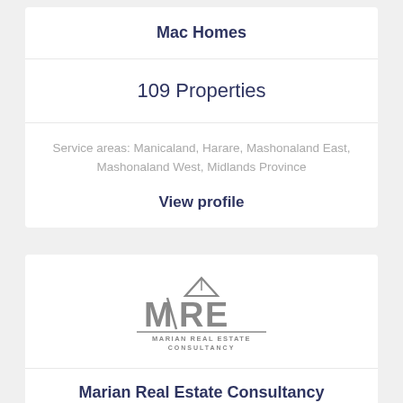Mac Homes
109 Properties
Service areas: Manicaland, Harare, Mashonaland East, Mashonaland West, Midlands Province
View profile
[Figure (logo): Marian Real Estate Consultancy logo with MRE letters and house graphic]
Marian Real Estate Consultancy